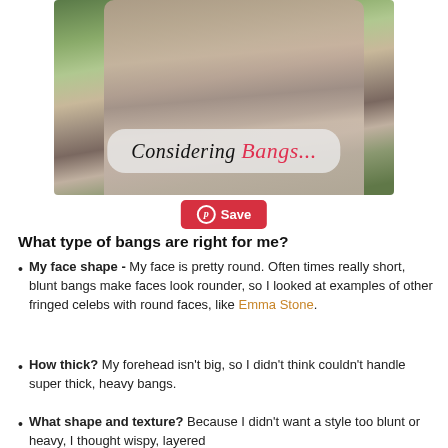[Figure (photo): A woman with long wavy brown hair shown in profile outdoors, with an overlaid semi-transparent rounded rectangle containing the text 'Considering Bangs...' in cursive/italic style, black and red.]
Save
What type of bangs are right for me?
My face shape - My face is pretty round. Often times really short, blunt bangs make faces look rounder, so I looked at examples of other fringed celebs with round faces, like Emma Stone.
How thick? My forehead isn't big, so I didn't think couldn't handle super thick, heavy bangs.
What shape and texture? Because I didn't want a style too blunt or heavy, I thought wispy, layered